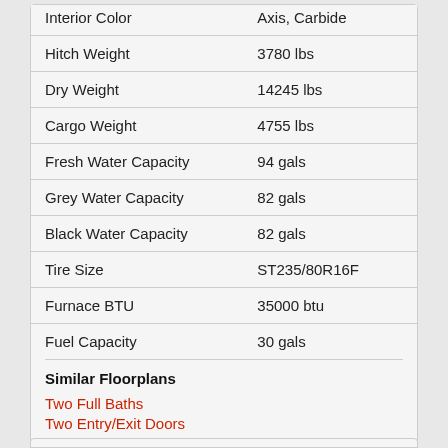| Specification | Value |
| --- | --- |
| Interior Color | Axis, Carbide |
| Hitch Weight | 3780 lbs |
| Dry Weight | 14245 lbs |
| Cargo Weight | 4755 lbs |
| Fresh Water Capacity | 94 gals |
| Grey Water Capacity | 82 gals |
| Black Water Capacity | 82 gals |
| Tire Size | ST235/80R16F |
| Furnace BTU | 35000 btu |
| Fuel Capacity | 30 gals |
Similar Floorplans
Two Full Baths
Two Entry/Exit Doors
Front Bedroom